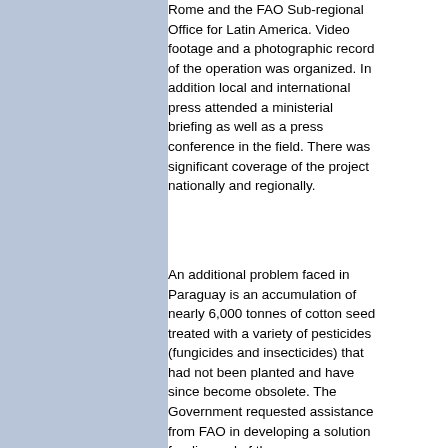Rome and the FAO Sub-regional Office for Latin America. Video footage and a photographic record of the operation was organized. In addition local and international press attended a ministerial briefing as well as a press conference in the field. There was significant coverage of the project nationally and regionally.
An additional problem faced in Paraguay is an accumulation of nearly 6,000 tonnes of cotton seed treated with a variety of pesticides (fungicides and insecticides) that had not been planted and have since become obsolete. The Government requested assistance from FAO in developing a solution for disposal of the